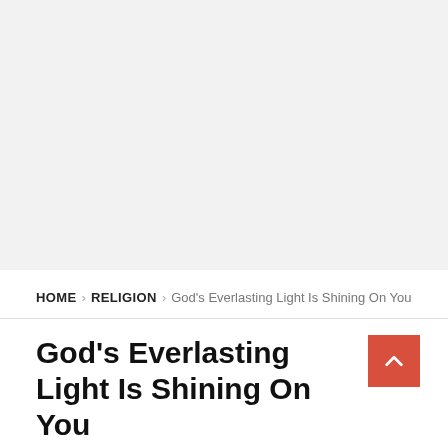[Figure (other): Gray advertisement/banner placeholder area at top of page]
HOME > RELIGION > God's Everlasting Light Is Shining On You
God's Everlasting Light Is Shining On You
By author name (partial, cut off at bottom)